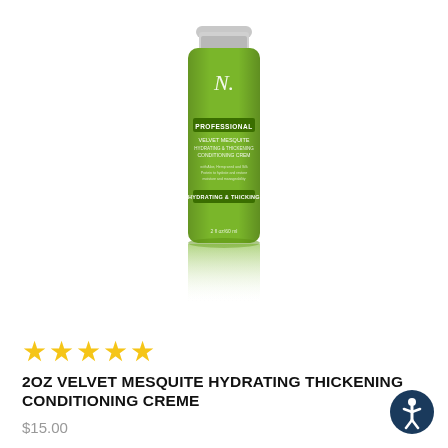[Figure (photo): A small green bottle of professional hair conditioning creme with a silver cap, labeled 'Velvet Mesquite Hydrating & Thickening Conditioning Creme', with a reflection visible below it on a white background.]
★★★★★
2OZ VELVET MESQUITE HYDRATING THICKENING CONDITIONING CREME
$15.00